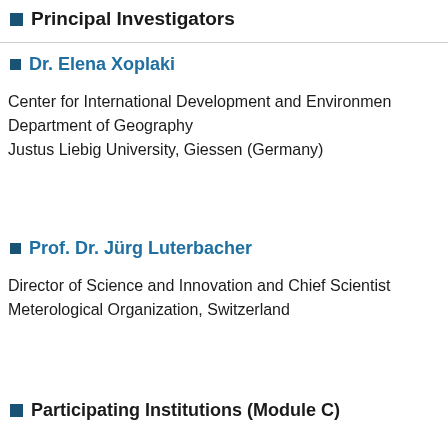Principal Investigators
Dr. Elena Xoplaki
Center for International Development and Environment
Department of Geography
Justus Liebig University, Giessen (Germany)
Prof. Dr. Jürg Luterbacher
Director of Science and Innovation and Chief Scientist
Meterological Organization, Switzerland
Participating Institutions (Module C)